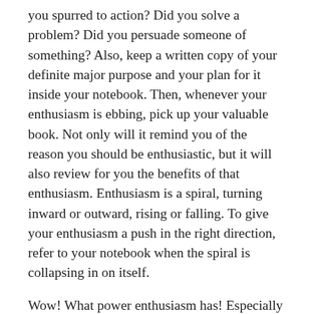you spurred to action? Did you solve a problem? Did you persuade someone of something? Also, keep a written copy of your definite major purpose and your plan for it inside your notebook. Then, whenever your enthusiasm is ebbing, pick up your valuable book. Not only will it remind you of the reason you should be enthusiastic, but it will also review for you the benefits of that enthusiasm. Enthusiasm is a spiral, turning inward or outward, rising or falling. To give your enthusiasm a push in the right direction, refer to your notebook when the spiral is collapsing in on itself.
Wow! What power enthusiasm has! Especially when we are able to help others around us! What fulfillment and accomplishment we receive! That power is released to support definiteness of purpose and is constantly